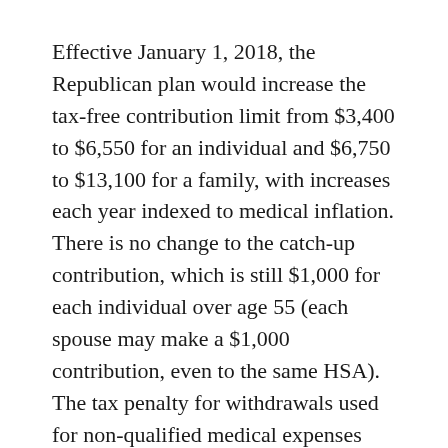Effective January 1, 2018, the Republican plan would increase the tax-free contribution limit from $3,400 to $6,550 for an individual and $6,750 to $13,100 for a family, with increases each year indexed to medical inflation. There is no change to the catch-up contribution, which is still $1,000 for each individual over age 55 (each spouse may make a $1,000 contribution, even to the same HSA). The tax penalty for withdrawals used for non-qualified medical expenses would be reduced from 20% to 10%.
Note that contribution limits increase every year, but that historical increases are usually on the order of about $50 for both individual and